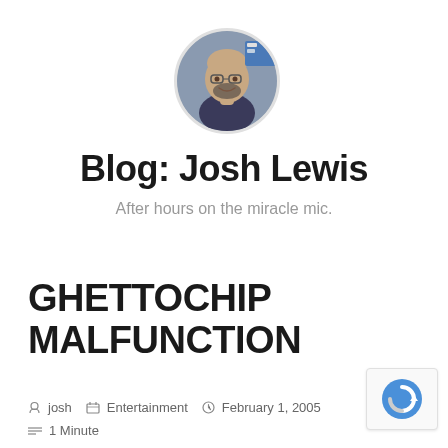[Figure (photo): Circular avatar photo of a bald man with glasses and a beard, wearing a dark shirt, smiling.]
Blog: Josh Lewis
After hours on the miracle mic.
GHETTOCHIP MALFUNCTION
josh   Entertainment   February 1, 2005
1 Minute